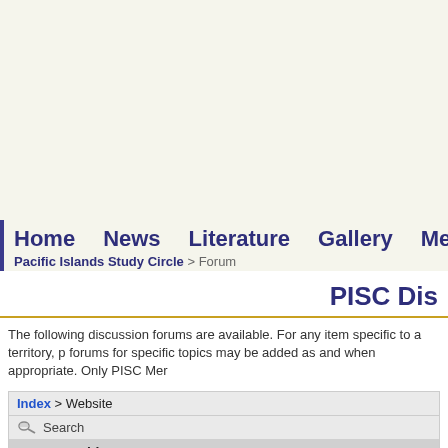Home  News  Literature  Gallery  Meetings  Links  Aucti
Pacific Islands Study Circle > Forum
PISC Dis
The following discussion forums are available. For any item specific to a territory, p forums for specific topics may be added as and when appropriate. Only PISC Mer
| Subject |
| --- |
| Issues accessing uploaded images?
by jmulik |
| Congratulations!
by rklinger |
| digital pacifica
by ... |